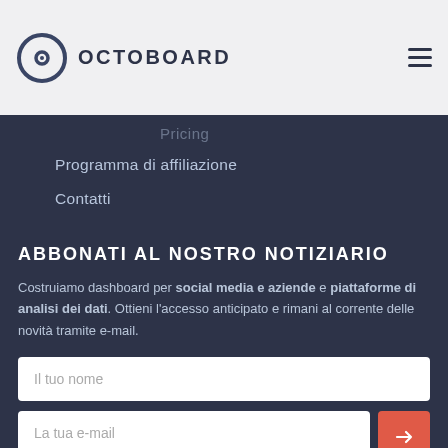OCTOBOARD
Programma di affiliazione
Contatti
ABBONATI AL NOSTRO NOTIZIARIO
Costruiamo dashboard per social media e aziende e piattaforme di analisi dei dati. Ottieni l'accesso anticipato e rimani al corrente delle novità tramite e-mail.
Il tuo nome
La tua e-mail